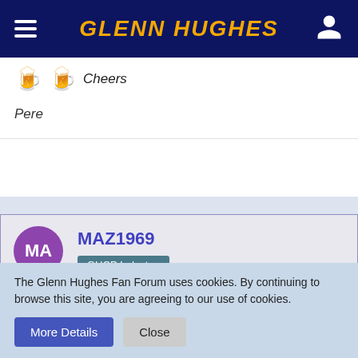GLENN HUGHES
Cheers

Pere
MAZ1969
GHCP Inductee
Mar 27th 2009
This looks like it will be a great disc. Cant wait.
The Glenn Hughes Fan Forum uses cookies. By continuing to browse this site, you are agreeing to our use of cookies.